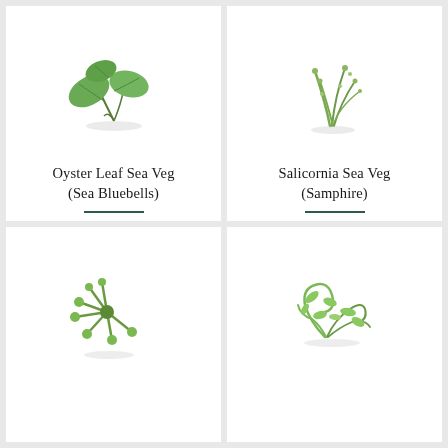[Figure (photo): Oyster Leaf Sea Veg plant with rounded green leaves on white background]
Oyster Leaf Sea Veg
(Sea Bluebells)
£7.00
[Figure (photo): Salicornia Sea Veg (Samphire) with long thin succulent stems on white background]
Salicornia Sea Veg
(Samphire)
£3.95
[Figure (photo): Small succulent sea plant with radiating green stems]
[Figure (photo): Curling green sea plant with thin elongated leaves]